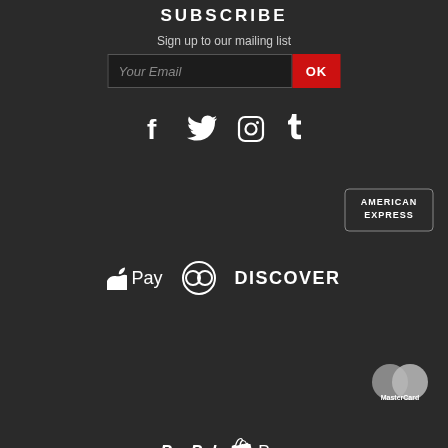SUBSCRIBE
Sign up to our mailing list
[Figure (screenshot): Email subscription form with 'Your Email' input field and red 'OK' button]
[Figure (infographic): Social media icons: Facebook, Twitter, Instagram, Tumblr]
[Figure (logo): American Express logo]
[Figure (logo): Apple Pay, Diners Club, and Discover payment logos]
[Figure (logo): MasterCard logo]
[Figure (logo): PayPal and Shopify Pay logos]